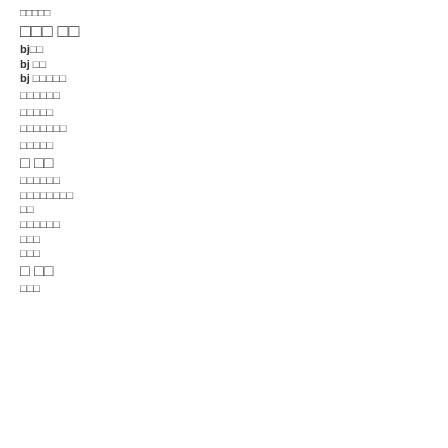□□□□□
□□□ □□
bj□□
bj □□
bj □□□□□
□□□□□□
□□□□□
□□□□□□□
□□□□□
□ □□
□□□□□□
□□□□□□□□
□□
□□□□□□
□□□
□□□
□ □□
□□□